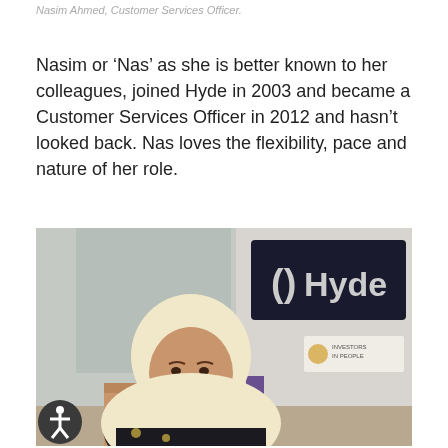Nasim Ahmed, Customer Services Officer.
Nasim or ‘Nas’ as she is better known to her colleagues, joined Hyde in 2003 and became a Customer Services Officer in 2012 and hasn’t looked back. Nas loves the flexibility, pace and nature of her role.
[Figure (photo): Photo of Nasim Ahmed, a woman wearing a cream hijab and dark floral clothing, seated at a desk in an office. Behind her is a dark sign reading 'Hyde' with the Hyde logo. An Investors in People plaque is visible on the wall. An accessibility button icon appears in the bottom-left corner.]